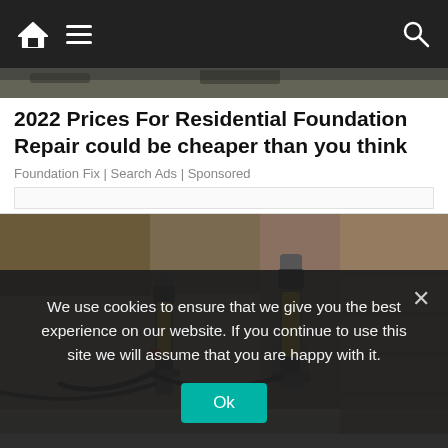Navigation bar with home, menu, and search icons
[Figure (photo): Partial view of a building or dirt excavation at the top of the page]
2022 Prices For Residential Foundation Repair could be cheaper than you think
Foundation Fix | Search Ads | Sponsored
[Figure (photo): Foundation repair equipment with yellow hydraulic jacks attached to a concrete foundation wall, with cables and hoses visible]
We use cookies to ensure that we give you the best experience on our website. If you continue to use this site we will assume that you are happy with it.